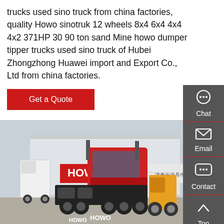trucks used sino truck from china factories, quality Howo sinotruk 12 wheels 8x4 6x4 4x4 4x2 371HP 30 90 ton sand Mine howo dumper tipper trucks used sino truck of Hubei Zhongzhong Huawei import and Export Co., Ltd from china factories.
Get a Quote
[Figure (infographic): Sidebar with Chat, Email, Contact, Top navigation icons on dark grey background]
[Figure (photo): A red HOWO tractor truck (rear/side view) parked at a dealership lot with HOWO signage and other trucks in background]